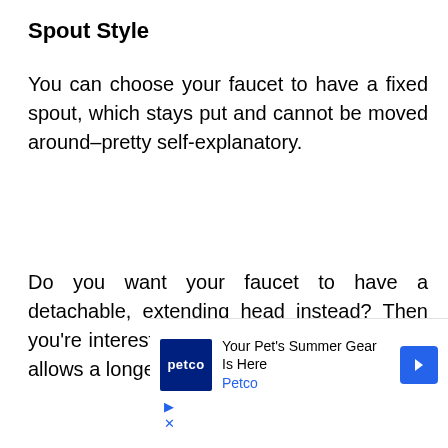Spout Style
You can choose your faucet to have a fixed spout, which stays put and cannot be moved around–pretty self-explanatory.
Do you want your faucet to have a detachable, extending head instead? Then you're interested in a pull-down spout, which allows a longer range of
[Figure (other): Advertisement banner for Petco: 'Your Pet's Summer Gear Is Here' with Petco logo and navigation arrow icon]